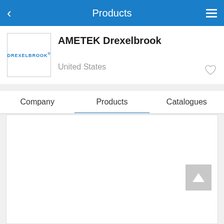Products
AMETEK Drexelbrook
United States
Company   Products   Catalogues
[Figure (screenshot): Blank white content area below the Products tab with a grey scroll-to-top button in the lower right]